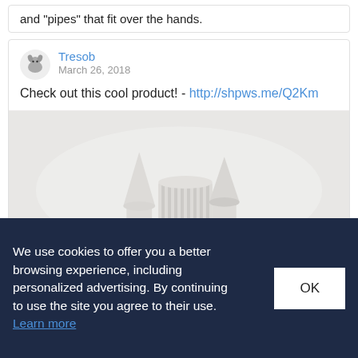and "pipes" that fit over the hands.
Tresob
March 26, 2018
Check out this cool product! - http://shpws.me/Q2Km
[Figure (photo): White 3D printed miniature castle or tower structures with turrets on a grey background]
We use cookies to offer you a better browsing experience, including personalized advertising. By continuing to use the site you agree to their use. Learn more